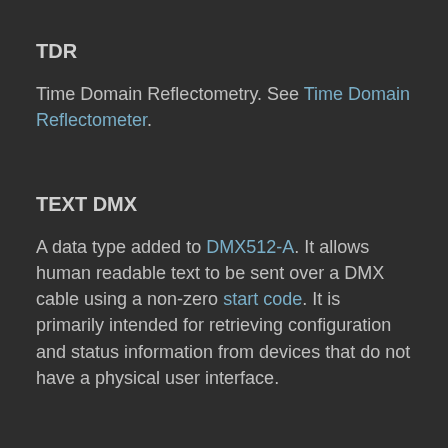TDR
Time Domain Reflectometry. See Time Domain Reflectometer.
TEXT DMX
A data type added to DMX512-A. It allows human readable text to be sent over a DMX cable using a non-zero start code. It is primarily intended for retrieving configuration and status information from devices that do not have a physical user interface.